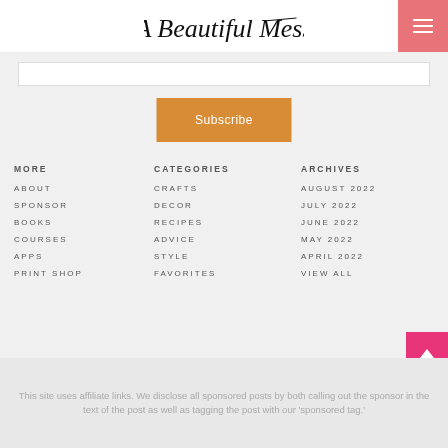A Beautiful Mess
Subscribe
MORE
ABOUT
SPONSOR
BOOKS
COURSES
APPS
PRINT SHOP
CATEGORIES
CRAFTS
DECOR
RECIPES
ADVICE
STYLE
FAVORITES
ARCHIVES
AUGUST 2022
JULY 2022
JUNE 2022
MAY 2022
APRIL 2022
VIEW ALL
This site uses affiliate links. We disclose all sponsored posts by both calling out the sponsor in the text of the post as well as tagging the post with our 'sponsored tag.'